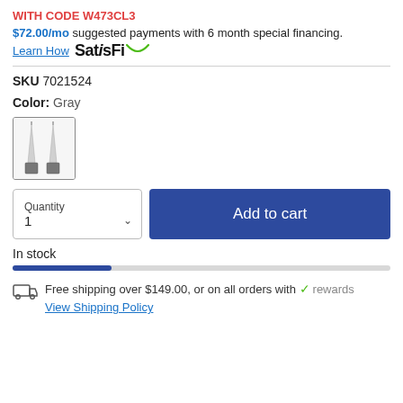WITH CODE W473CL3
$72.00/mo suggested payments with 6 month special financing.
Learn How  SatisFi
SKU 7021524
Color: Gray
[Figure (photo): Gray earrings product swatch thumbnail image]
Quantity 1   Add to cart
In stock
Free shipping over $149.00, or on all orders with rewards
View Shipping Policy